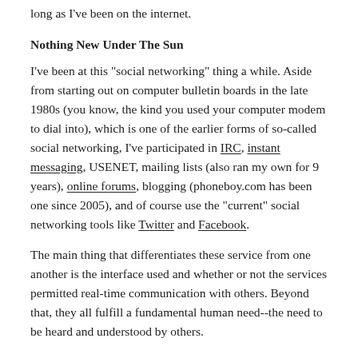long as I've been on the internet.
Nothing New Under The Sun
I've been at this "social networking" thing a while. Aside from starting out on computer bulletin boards in the late 1980s (you know, the kind you used your computer modem to dial into), which is one of the earlier forms of so-called social networking, I've participated in IRC, instant messaging, USENET, mailing lists (also ran my own for 9 years), online forums, blogging (phoneboy.com has been one since 2005), and of course use the "current" social networking tools like Twitter and Facebook.
The main thing that differentiates these service from one another is the interface used and whether or not the services permitted real-time communication with others. Beyond that, they all fulfill a fundamental human need--the need to be heard and understood by others.